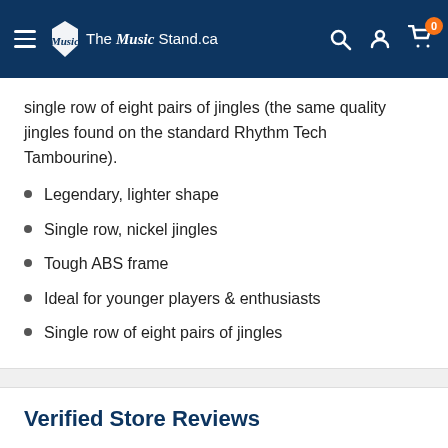The Music Stand.ca — navigation header
single row of eight pairs of jingles (the same quality jingles found on the standard Rhythm Tech Tambourine).
Legendary, lighter shape
Single row, nickel jingles
Tough ABS frame
Ideal for younger players & enthusiasts
Single row of eight pairs of jingles
Verified Store Reviews
[Figure (logo): Google logo (partially visible at bottom)]